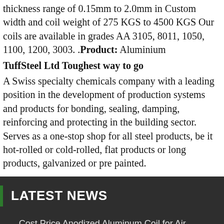thickness range of 0.15mm to 2.0mm in Custom width and coil weight of 275 KGS to 4500 KGS Our coils are available in grades AA 3105, 8011, 1050, 1100, 1200, 3003. .Product: Aluminium
TuffSteel Ltd Toughest way to go
A Swiss specialty chemicals company with a leading position in the development of production systems and products for bonding, sealing, damping, reinforcing and protecting in the building sector. Serves as a one-stop shop for all steel products, be it hot-rolled or cold-rolled, flat products or long products, galvanized or pre painted.
LATEST NEWS
Cost Price Anodized Aluminum Coil for Air Conditioner
large rolls of food packaging aluminium foil manufacture